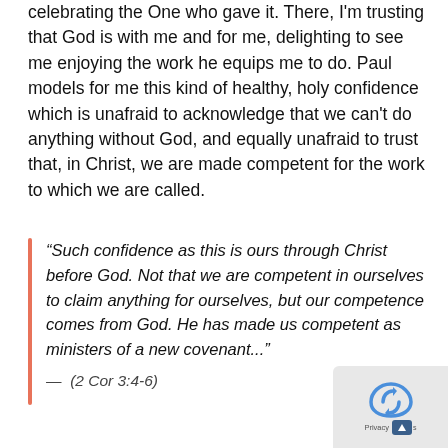celebrating the One who gave it. There, I'm trusting that God is with me and for me, delighting to see me enjoying the work he equips me to do. Paul models for me this kind of healthy, holy confidence which is unafraid to acknowledge that we can't do anything without God, and equally unafraid to trust that, in Christ, we are made competent for the work to which we are called.
“Such confidence as this is ours through Christ before God. Not that we are competent in ourselves to claim anything for ourselves, but our competence comes from God. He has made us competent as ministers of a new covenant...”
— (2 Cor 3:4-6)